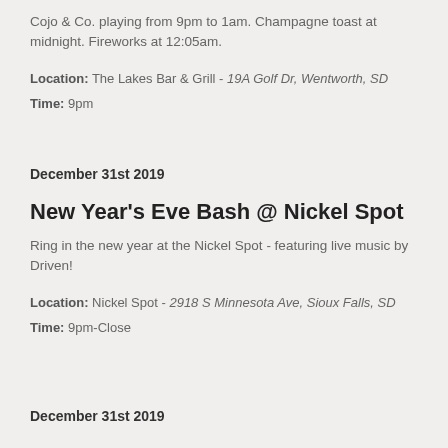Cojo & Co. playing from 9pm to 1am. Champagne toast at midnight. Fireworks at 12:05am.
Location: The Lakes Bar & Grill - 19A Golf Dr, Wentworth, SD
Time: 9pm
December 31st 2019
New Year's Eve Bash @ Nickel Spot
Ring in the new year at the Nickel Spot - featuring live music by Driven!
Location: Nickel Spot - 2918 S Minnesota Ave, Sioux Falls, SD
Time: 9pm-Close
December 31st 2019